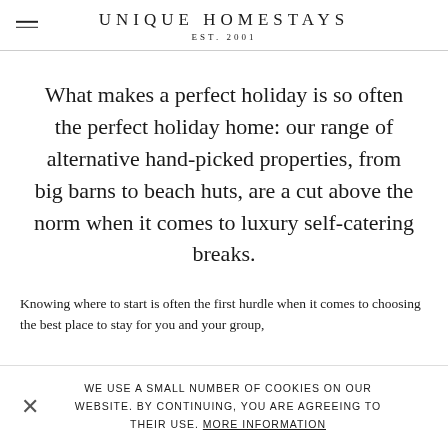UNIQUE HOMESTAYS EST. 2001
What makes a perfect holiday is so often the perfect holiday home: our range of alternative hand-picked properties, from big barns to beach huts, are a cut above the norm when it comes to luxury self-catering breaks.
Knowing where to start is often the first hurdle when it comes to choosing the best place to stay for you and your group,
WE USE A SMALL NUMBER OF COOKIES ON OUR WEBSITE. BY CONTINUING, YOU ARE AGREEING TO THEIR USE. MORE INFORMATION